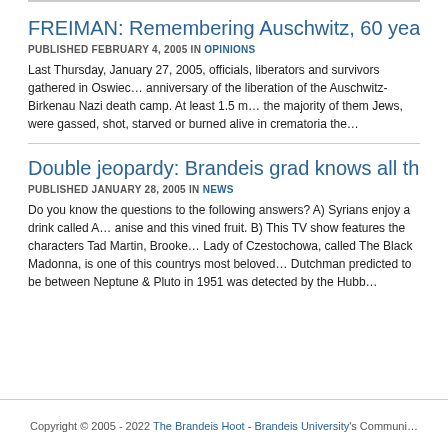FREIMAN: Remembering Auschwitz, 60 years on
PUBLISHED FEBRUARY 4, 2005 IN OPINIONS
Last Thursday, January 27, 2005, officials, liberators and survivors gathered in Oswiecim, Poland for the 60th anniversary of the liberation of the Auschwitz-Birkenau Nazi death camp. At least 1.5 million people, the majority of them Jews, were gassed, shot, starved or burned alive in crematoria there.
Double jeopardy: Brandeis grad knows all the right questi…
PUBLISHED JANUARY 28, 2005 IN NEWS
Do you know the questions to the following answers? A) Syrians enjoy a drink called Arak, made from anise and this vined fruit. B) This TV show features the characters Tad Martin, Brooke... C) Our Lady of Czestochowa, called The Black Madonna, is one of this countrys most beloved... D) A Dutchman predicted to be between Neptune & Pluto in 1951 was detected by the Hubb…
Copyright © 2005 - 2022 The Brandeis Hoot - Brandeis University's Communi…